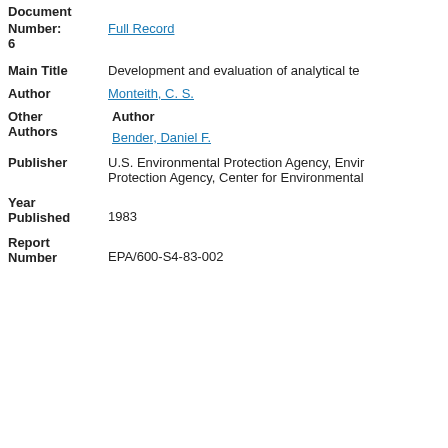Document Number: Full Record
6
Main Title: Development and evaluation of analytical te
Author: Monteith, C. S.
Other Authors: Author
Bender, Daniel F.
Publisher: U.S. Environmental Protection Agency, Environmental Protection Agency, Center for Environmental
Year Published: 1983
Report Number: EPA/600-S4-83-002